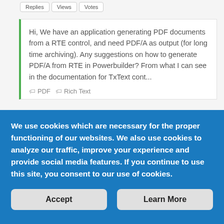Replies  Views  Votes
Hi, We have an application generating PDF documents from a RTE control, and need PDF/A as output (for long time archiving). Any suggestions on how to generate PDF/A from RTE in Powerbuilder? From what I can see in the documentation for TxText cont...
PDF  Rich Text
Geir Magne Vangen  PowerBuilder
Solution to generate PDF...
We use cookies which are necessary for the proper functioning of our websites. We also use cookies to analyze our traffic, improve your experience and provide social media features. If you continue to use this site, you consent to our use of cookies.
Accept
Learn More